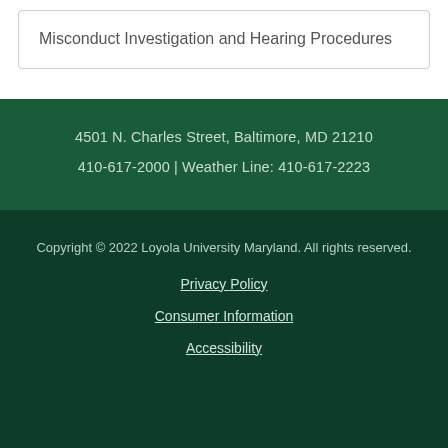Misconduct Investigation and Hearing Procedures
4501 N. Charles Street, Baltimore, MD 21210
410-617-2000 | Weather Line: 410-617-2223
Copyright © 2022 Loyola University Maryland. All rights reserved.
Privacy Policy
Consumer Information
Accessibility